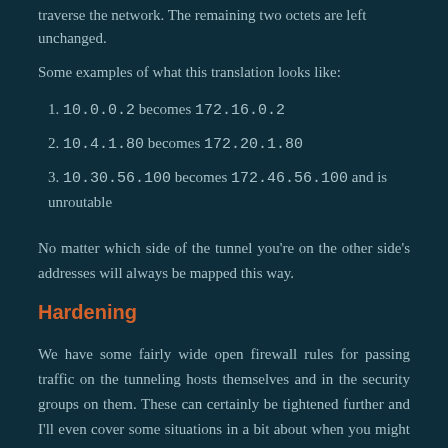traverse the network. The remaining two octets are left unchanged.
Some examples of what this translation looks like:
1. 10.0.0.2 becomes 172.16.0.2
2. 10.4.1.80 becomes 172.20.1.80
3. 10.30.56.100 becomes 172.46.56.100 and is unroutable
No matter which side of the tunnel you're on the other side's addresses will always be mapped this way.
Hardening
We have some fairly wide open firewall rules for passing traffic on the tunneling hosts themselves and in the security groups on them. These can certainly be tightened further and I'll even cover some situations in a bit about when you might want to do that. As it stands right now the internal private IP addresses of the tunnel host's and clients haven't matter beyond whether or not they were in the routable range.
If you use ephemeral containers or autoscaling IP addresses are going